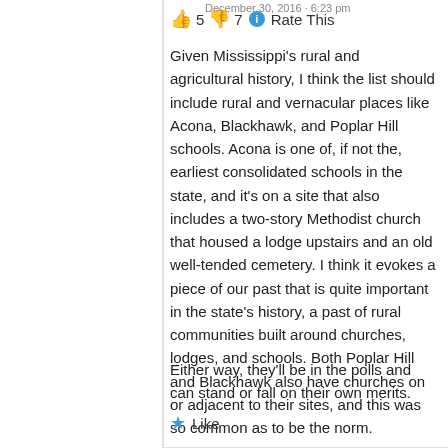December 30, 2016 · 6:23 pm
👍 5 👎 7 ℹ Rate This
Given Mississippi's rural and agricultural history, I think the list should include rural and vernacular places like Acona, Blackhawk, and Poplar Hill schools. Acona is one of, if not the, earliest consolidated schools in the state, and it's on a site that also includes a two-story Methodist church that housed a lodge upstairs and an old well-tended cemetery. I think it evokes a piece of our past that is quite important in the state's history, a past of rural communities built around churches, lodges, and schools. Both Poplar Hill and Blackhawk also have churches on or adjacent to their sites, and this was so common as to be the norm.
Either way, they'll be in the polls and can stand or fall on their own merits.
★ Like